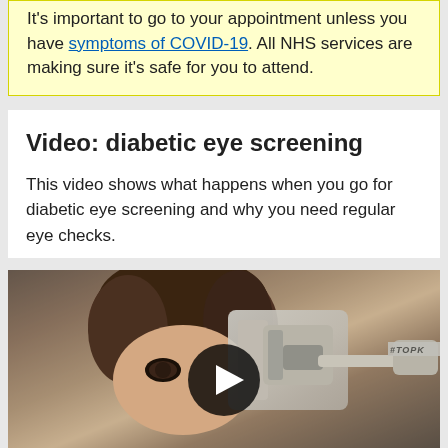It's important to go to your appointment unless you have symptoms of COVID-19. All NHS services are making sure it's safe for you to attend.
Video: diabetic eye screening
This video shows what happens when you go for diabetic eye screening and why you need regular eye checks.
[Figure (photo): Video thumbnail showing a patient having diabetic eye screening with medical equipment. A play button overlay is centered on the image. The TOPCON brand is visible on equipment in the top right.]